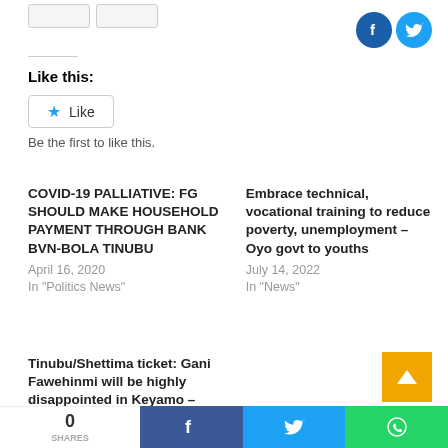Like this:
Like
Be the first to like this.
COVID-19 PALLIATIVE: FG SHOULD MAKE HOUSEHOLD PAYMENT THROUGH BANK BVN- BOLA TINUBU
April 16, 2020
In "Politics News"
Embrace technical, vocational training to reduce poverty, unemployment – Oyo govt to youths
July 14, 2022
In "News"
Tinubu/Shettima ticket: Gani Fawehinmi will be highly disappointed in Keyamo – Onuesoke
August 10, 2022
0 SHARES